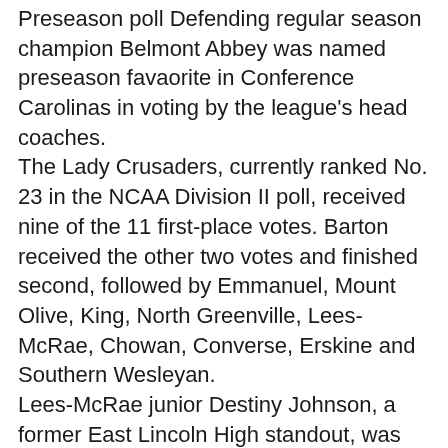Preseason poll Defending regular season champion Belmont Abbey was named preseason favaorite in Conference Carolinas in voting by the league's head coaches.
The Lady Crusaders, currently ranked No. 23 in the NCAA Division II poll, received nine of the 11 first-place votes. Barton received the other two votes and finished second, followed by Emmanuel, Mount Olive, King, North Greenville, Lees-McRae, Chowan, Converse, Erskine and Southern Wesleyan.
Lees-McRae junior Destiny Johnson, a former East Lincoln High standout, was named one of the league's players to watch.
Charlotte adds game: The 49ers announced an addition to their 2020-21 schedule as they will travel to play Campbell for a 3 p.m. game on Friday.
The matchup replaces the cancelled Thursday home game against Dayton due to COVID concerns within the Flyers program.